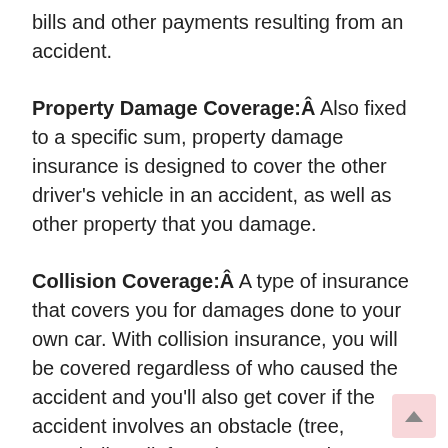bills and other payments resulting from an accident.
Property Damage Coverage:Â Also fixed to a specific sum, property damage insurance is designed to cover the other driver’s vehicle in an accident, as well as other property that you damage.
Collision Coverage:Â A type of insurance that covers you for damages done to your own car. With collision insurance, you will be covered regardless of who caused the accident and you’ll also get cover if the accident involves an obstacle (tree, guardrail, wall, fence) as opposed to another vehicle. You will not, however, be covered if you hit a deer. One of the quirks of this coverage